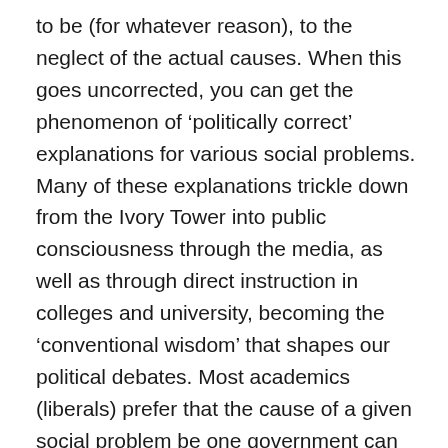to be (for whatever reason), to the neglect of the actual causes. When this goes uncorrected, you can get the phenomenon of ‘politically correct’ explanations for various social problems. Many of these explanations trickle down from the Ivory Tower into public consciousness through the media, as well as through direct instruction in colleges and university, becoming the ‘conventional wisdom’ that shapes our political debates. Most academics (liberals) prefer that the cause of a given social problem be one government can do something about.”  The excuse or the explanation that liberals give for mass shootings is that it is too easy to get guns. Yet it was a firearm in the hands of a healthy-minded neighbor who shot at Kelly, distracted him, and prevented further carnage. “If only we had gun control, we wouldn’t have these shooting.” “Another deadly mass shooting because people can get guns.”  The